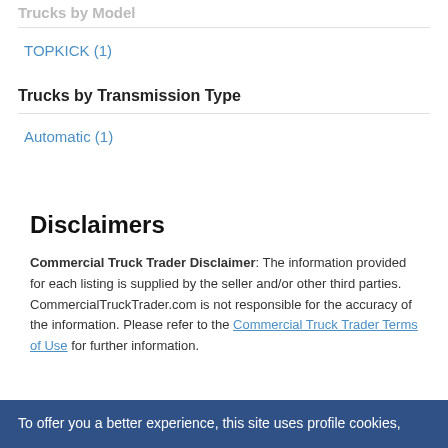Trucks by Model
TOPKICK (1)
Trucks by Transmission Type
Automatic (1)
Disclaimers
Commercial Truck Trader Disclaimer: The information provided for each listing is supplied by the seller and/or other third parties. CommercialTruckTrader.com is not responsible for the accuracy of the information. Please refer to the Commercial Truck Trader Terms of Use for further information.
To offer you a better experience, this site uses profile cookies,